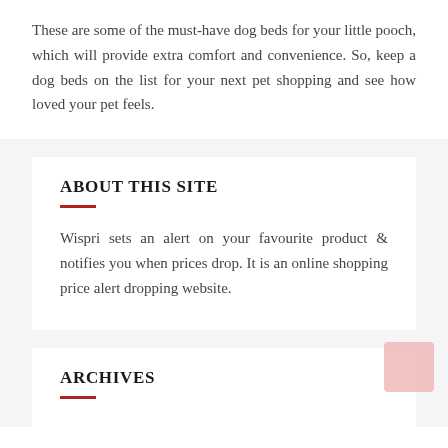These are some of the must-have dog beds for your little pooch, which will provide extra comfort and convenience. So, keep a dog beds on the list for your next pet shopping and see how loved your pet feels.
ABOUT THIS SITE
Wispri sets an alert on your favourite product & notifies you when prices drop. It is an online shopping price alert dropping website.
ARCHIVES